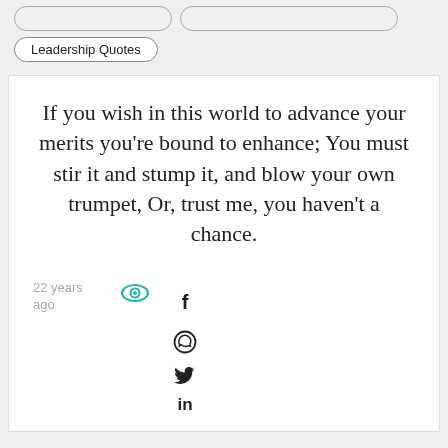Leadership Quotes
If you wish in this world to advance your merits you're bound to enhance; You must stir it and stump it, and blow your own trumpet, Or, trust me, you haven't a chance.
22 years ago